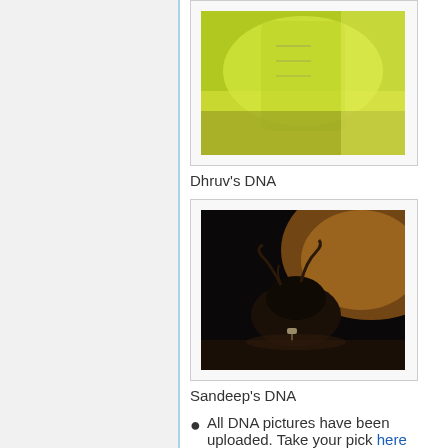[Figure (photo): Partial top of a yellowish-green liquid in a glass container, partially visible at the top of the page. Described as Dhruv's DNA.]
Dhruv's DNA
[Figure (photo): Dark image showing what appears to be a small dark animal or object illuminated from behind with warm light. Described as Sandeep's DNA.]
Sandeep's DNA
All DNA pictures have been uploaded. Take your pick here
May 31st
Some interesting articles: